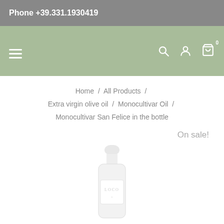Phone +39.331.1930419
[Figure (screenshot): Navigation bar with hamburger menu icon on the left and search, user account, and cart icons on the right. Cart shows badge with 0.]
Home / All Products / Extra virgin olive oil / Monocultivar Oil / Monocultivar San Felice in the bottle
On sale!
[Figure (photo): A white olive oil bottle partially visible at the bottom of the page, with a label reading 'LOCO' or similar branding text.]